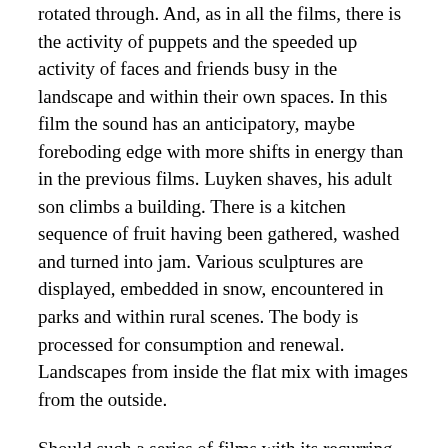rotated through. And, as in all the films, there is the activity of puppets and the speeded up activity of faces and friends busy in the landscape and within their own spaces. In this film the sound has an anticipatory, maybe foreboding edge with more shifts in energy than in the previous films. Luyken shaves, his adult son climbs a building. There is a kitchen sequence of fruit having been gathered, washed and turned into jam. Various sculptures are displayed, embedded in snow, encountered in parks and within rural scenes. The body is processed for consumption and renewal. Landscapes from inside the flat mix with images from the outside.
Should such a series of films with its recurring themes and collection strategies be seen as one feature length work? Luyken has made a number of longer films on 16mm among them White Line Fever (1978, 90 mins), Tikal Temple (1979, 80 mins), Dutch Headline Builders (1982, 90 mins) and Watermill Triangle (1982, 90 mins). These were made during periods when funds were more available. The design of these annual 14-minute diary entries facilitates multiple readings and viewings that reveal the layered connections between them. When viewed together, more can be read into them. They talk